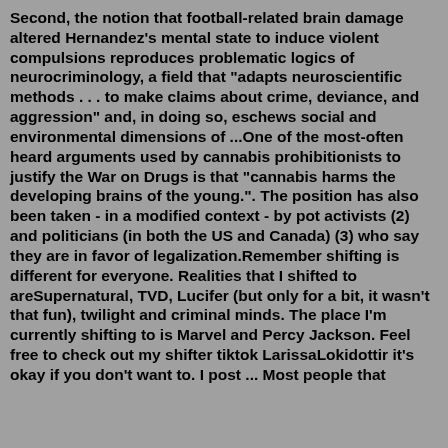Second, the notion that football-related brain damage altered Hernandez's mental state to induce violent compulsions reproduces problematic logics of neurocriminology, a field that "adapts neuroscientific methods . . . to make claims about crime, deviance, and aggression" and, in doing so, eschews social and environmental dimensions of ...One of the most-often heard arguments used by cannabis prohibitionists to justify the War on Drugs is that "cannabis harms the developing brains of the young.". The position has also been taken - in a modified context - by pot activists (2) and politicians (in both the US and Canada) (3) who say they are in favor of legalization.Remember shifting is different for everyone. Realities that I shifted to areSupernatural, TVD, Lucifer (but only for a bit, it wasn't that fun), twilight and criminal minds. The place I'm currently shifting to is Marvel and Percy Jackson. Feel free to check out my shifter tiktok LarissaLokidottir it's okay if you don't want to. I post ... Most people that